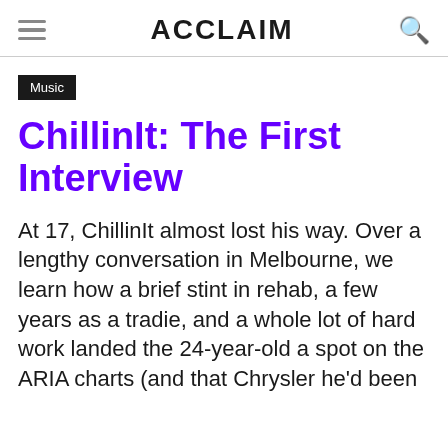ACCLAIM
Music
ChillinIt: The First Interview
At 17, ChillinIt almost lost his way. Over a lengthy conversation in Melbourne, we learn how a brief stint in rehab, a few years as a tradie, and a whole lot of hard work landed the 24-year-old a spot on the ARIA charts (and that Chrysler he'd been